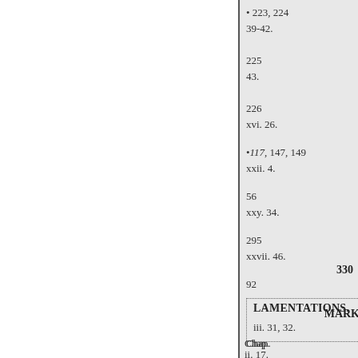223, 224
39-42.
225
43.
226
xvi. 26.
117, 147, 149
xxii. 4.
56
xxy. 34.
295
xxvii. 46.
92
LAMENTATIONS.
330
iii. 31, 32.
MARK
Chap.
ii. 17.
x. 51..